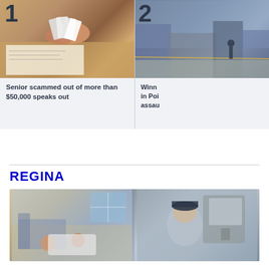[Figure (photo): Close-up of hands holding playing cards or papers over documents on a table]
Senior scammed out of more than $50,000 speaks out
[Figure (photo): Street scene with people, partial view of second news story]
Winn in Poi assau
REGINA
[Figure (photo): Group photo of people in what appears to be a medical or indoor setting]